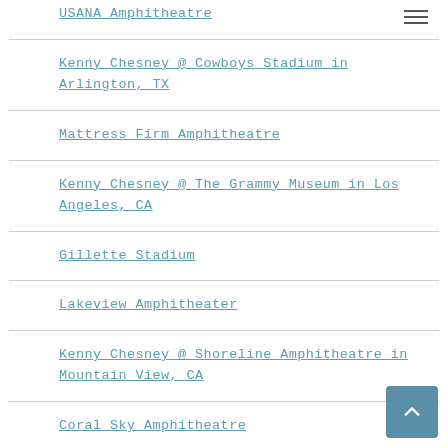USANA Amphitheatre
Kenny Chesney @ Cowboys Stadium in Arlington, TX
Mattress Firm Amphitheatre
Kenny Chesney @ The Grammy Museum in Los Angeles, CA
Gillette Stadium
Lakeview Amphitheater
Kenny Chesney @ Shoreline Amphitheatre in Mountain View, CA
Coral Sky Amphitheatre